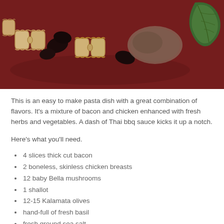[Figure (photo): Photo of pasta bowtie dish with mushrooms, chicken, and fresh basil on a dark red surface]
This is an easy to make pasta dish with a great combination of flavors. It's a mixture of bacon and chicken enhanced with fresh herbs and vegetables. A dash of Thai bbq sauce kicks it up a notch.
Here’s what you’ll need.
4 slices thick cut bacon
2 boneless, skinless chicken breasts
12 baby Bella mushrooms
1 shallot
12-15 Kalamata olives
hand-full of fresh basil
fresh ground sea salt
1/2 grated Asiago cheese divided
1/2 ...